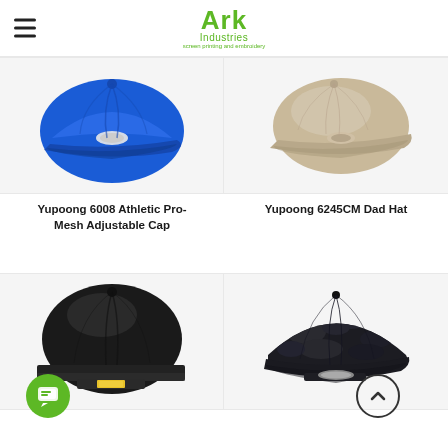Ark Industries
[Figure (photo): Blue Yupoong 6008 Athletic Pro-Mesh Adjustable Cap on white/light grey background]
Yupoong 6008 Athletic Pro-Mesh Adjustable Cap
[Figure (photo): Khaki/beige Yupoong 6245CM Dad Hat on white background]
Yupoong 6245CM Dad Hat
[Figure (photo): Black Yupoong flat-brim snapback cap on white/light grey background]
[Figure (photo): Dark multicam/camo Yupoong snapback cap on white background]